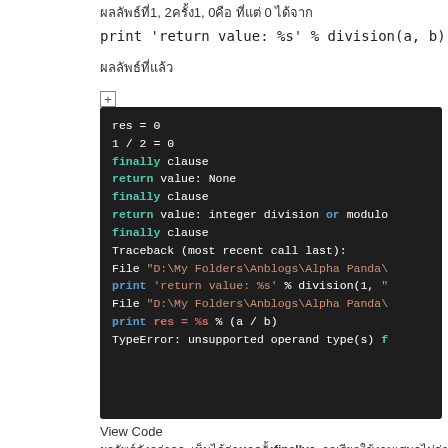ผลลัพธ์ที่1, 2ครั้ง1, 0คือ ที่แต่ 0 ได้จาก
print 'return value: %s' % division(a, b)
ผลลัพธ์ที่แล้ว
[Figure (screenshot): Code block output showing Python execution results with finally clauses and TypeError traceback]
View Code
ผลลัพธ์ดังกล่าวจะเห็นได้ว่าทุกครั้งfinally จะถูกเรียกใช้งานเสมอไม่ว่าจะเกิดอะไรขึ้น